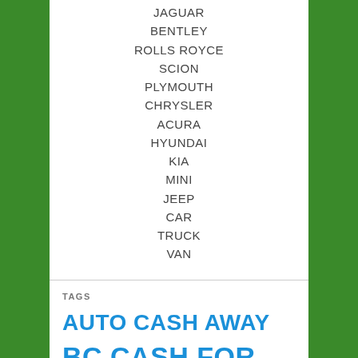JAGUAR
BENTLEY
ROLLS ROYCE
SCION
PLYMOUTH
CHRYSLER
ACURA
HYUNDAI
KIA
MINI
JEEP
CAR
TRUCK
VAN
TAGS
AUTO CASH AWAY
BC CASH FOR CLUNKERS
BUY BUYING